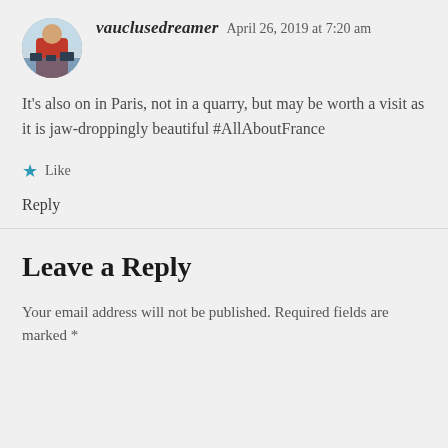[Figure (photo): Avatar photo of vauclusedreamer - person in red shirt outdoors near water]
vauclusedreamer   April 26, 2019 at 7:20 am
It's also on in Paris, not in a quarry, but may be worth a visit as it is jaw-droppingly beautiful #AllAboutFrance
★ Like
Reply
Leave a Reply
Your email address will not be published. Required fields are marked *